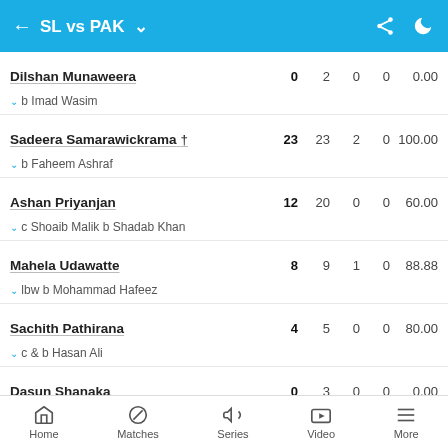SL vs PAK
| Player | R | B | 4s | 6s | SR |
| --- | --- | --- | --- | --- | --- |
| Dilshan Munaweera | 0 | 2 | 0 | 0 | 0.00 |
| b Imad Wasim |  |  |  |  |  |
| Sadeera Samarawickrama † | 23 | 23 | 2 | 0 | 100.00 |
| b Faheem Ashraf |  |  |  |  |  |
| Ashan Priyanjan | 12 | 20 | 0 | 0 | 60.00 |
| c Shoaib Malik b Shadab Khan |  |  |  |  |  |
| Mahela Udawatte | 8 | 9 | 1 | 0 | 88.88 |
| lbw b Mohammad Hafeez |  |  |  |  |  |
| Sachith Pathirana | 4 | 5 | 0 | 0 | 80.00 |
| c & b Hasan Ali |  |  |  |  |  |
| Dasun Shanaka | 0 | 3 | 0 | 0 | 0.00 |
| st †Sarfaraz Ahmed b Mohammad Hafeez |  |  |  |  |  |
| Seekkuge Prasanna | 23 | 23 | 0 | 2 | 100.00 |
Home  Matches  Series  Video  More